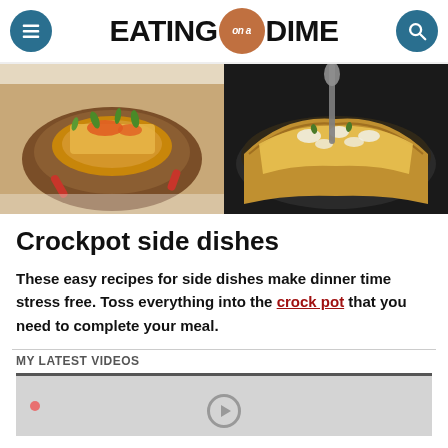EATING on a DIME
[Figure (photo): Two food photos side by side: left shows a baked potato loaded with cheese, bacon, and green onions; right shows a cheesy casserole dish being served with a spoon]
Crockpot side dishes
These easy recipes for side dishes make dinner time stress free. Toss everything into the crock pot that you need to complete your meal.
MY LATEST VIDEOS
[Figure (screenshot): Video thumbnail placeholder, grey background with play button]